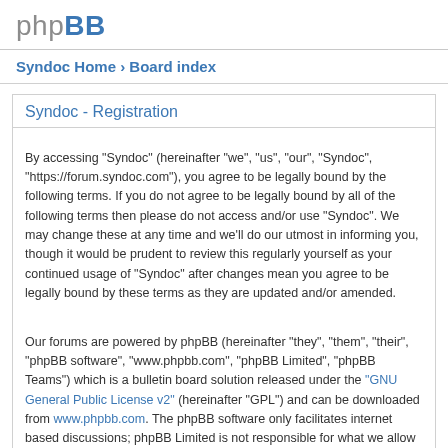phpBB
Syndoc Home › Board index
Syndoc - Registration
By accessing "Syndoc" (hereinafter "we", "us", "our", "Syndoc", "https://forum.syndoc.com"), you agree to be legally bound by the following terms. If you do not agree to be legally bound by all of the following terms then please do not access and/or use "Syndoc". We may change these at any time and we'll do our utmost in informing you, though it would be prudent to review this regularly yourself as your continued usage of "Syndoc" after changes mean you agree to be legally bound by these terms as they are updated and/or amended.
Our forums are powered by phpBB (hereinafter "they", "them", "their", "phpBB software", "www.phpbb.com", "phpBB Limited", "phpBB Teams") which is a bulletin board solution released under the "GNU General Public License v2" (hereinafter "GPL") and can be downloaded from www.phpbb.com. The phpBB software only facilitates internet based discussions; phpBB Limited is not responsible for what we allow and/or disallow as permissible content and/or conduct. For further information about phpBB, please see: https://www.phpbb.com/.